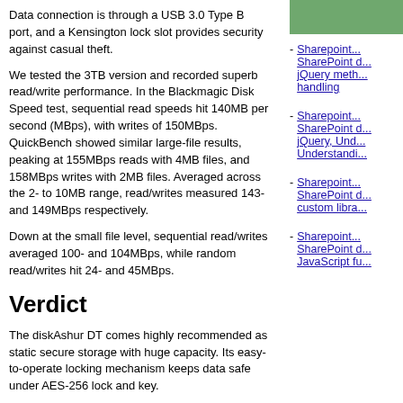Data connection is through a USB 3.0 Type B port, and a Kensington lock slot provides security against casual theft.
We tested the 3TB version and recorded superb read/write performance. In the Blackmagic Disk Speed test, sequential read speeds hit 140MB per second (MBps), with writes of 150MBps. QuickBench showed similar large-file results, peaking at 155MBps reads with 4MB files, and 158MBps writes with 2MB files. Averaged across the 2- to 10MB range, read/writes measured 143- and 149MBps respectively.
Down at the small file level, sequential read/writes averaged 100- and 104MBps, while random read/writes hit 24- and 45MBps.
Verdict
The diskAshur DT comes highly recommended as static secure storage with huge capacity. Its easy-to-operate locking mechanism keeps data safe under AES-256 lock and key.
| Details |  |
| --- | --- |
| Price | $438 |
| Contact: | isotorage-uk.com |
| Specification | External desktop hard drive; |
- Sharepoint... SharePoint d... jQuery meth... handling
- Sharepoint... SharePoint d... jQuery, Und... Understanding
- Sharepoint... SharePoint d... custom libra...
- Sharepoint... SharePoint d... JavaScript fu...